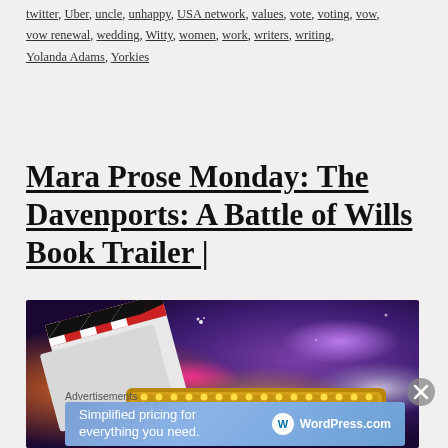twitter, Uber, uncle, unhappy, USA network, values, vote, voting, vow, vow renewal, wedding, Witty, women, work, writers, writing, Yolanda Adams, Yorkies
Mara Prose Monday: The Davenports: A Battle of Wills Book Trailer |
[Figure (photo): Movie-themed banner image showing a film clapperboard and a marquee sign reading 'playing', with colorful bokeh lights in red, pink, purple and gold tones on a dark background.]
Advertisements
[Figure (screenshot): WordPress.com advertisement banner with blue gradient background reading 'Simplified pricing for everything you need.' with WordPress.com logo.]